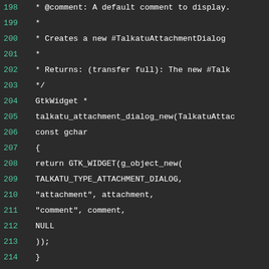[Figure (screenshot): Source code viewer showing C code lines 198-217 with line numbers in teal/cyan and code in white on dark background (#2b2b2b). The code shows a function talkatu_attachment_dialog_new with GTK widget implementation, including comments with @comment and @Returns tags, function signature, and body with GTK_WIDGET and g_object_new calls.]